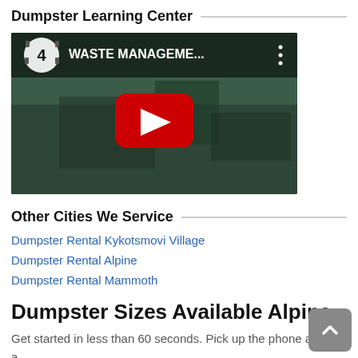Dumpster Learning Center
[Figure (screenshot): YouTube video thumbnail showing waste management truck with title 'WASTE MANAGEME...' and episode number 4]
Other Cities We Service
Dumpster Rental Kykotsmovi Village
Dumpster Rental Alpine
Dumpster Rental Mammoth
Dumpster Sizes Available Alpine
Get started in less than 60 seconds. Pick up the phone and get a quote now!